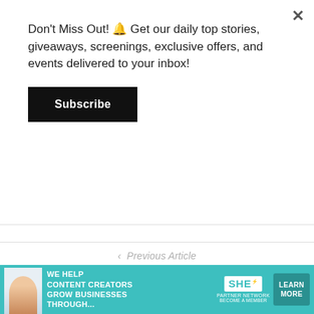Don't Miss Out! 🔔 Get our daily top stories, giveaways, screenings, exclusive offers, and events delivered to your inbox!
Subscribe
< Previous Article
50 Cent Shows Rick Ross With $2 Millio...
[Figure (screenshot): Advertisement banner for SHE Media Partner Network with teal background, text 'We help content creators grow businesses through...', SHE logo, and 'Learn More' button]